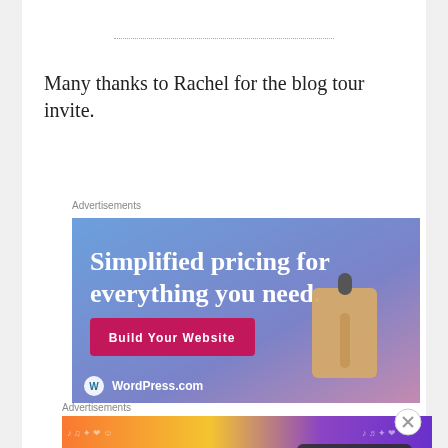Many thanks to Rachel for the blog tour invite.
Advertisements
[Figure (illustration): WordPress.com advertisement: 'Simplified pricing for everything you need.' with a Build Your Website button and a price tag graphic on a blue-purple gradient background, with WordPress.com logo at bottom.]
Advertisements
[Figure (illustration): Fandom on Tumblr advertisement banner with colorful orange-to-purple gradient background and doodle icons.]